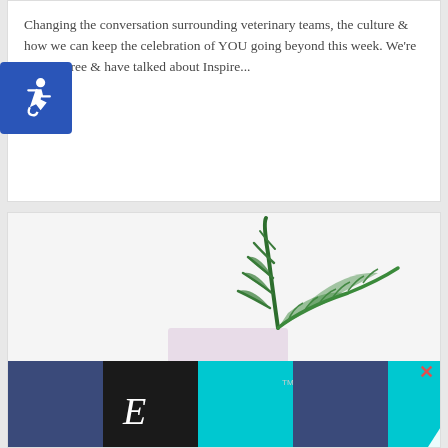Changing the conversation surrounding veterinary teams, the culture & how we can keep the celebration of YOU going beyond this week. We're at day three & have talked about Inspire...
Continue Reading ›
[Figure (photo): A green fern plant with multiple fronds in a white rectangular pot, photographed against a white background.]
[Figure (logo): Company logo with dark navy background, black box with italic E letter, cyan/teal box with diagonal white slash mark, and TM symbol.]